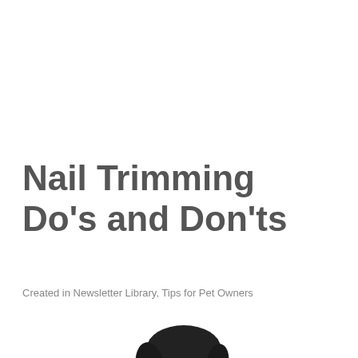Nail Trimming Do's and Don'ts
Created in Newsletter Library, Tips for Pet Owners
[Figure (photo): A dog (black and tan, resembling a small mixed breed) photographed from the front/side against a white background, head and upper body visible, looking slightly upward to the right.]